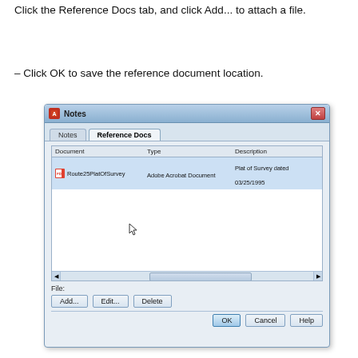Click the Reference Docs tab, and click Add... to attach a file.
– Click OK to save the reference document location.
[Figure (screenshot): Windows Notes dialog box showing the Reference Docs tab with a file entry: Route25PlatOfSurvey, Adobe Acrobat Document, Plat of Survey dated 03/25/1995. Buttons shown: Add..., Edit..., Delete, OK, Cancel, Help.]